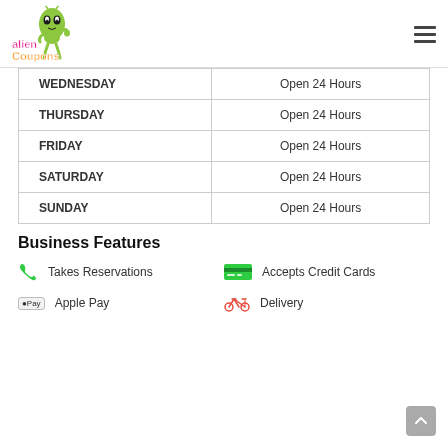[Figure (logo): Alien Coupons logo with green alien character and colorful text]
| WEDNESDAY | Open 24 Hours |
| THURSDAY | Open 24 Hours |
| FRIDAY | Open 24 Hours |
| SATURDAY | Open 24 Hours |
| SUNDAY | Open 24 Hours |
Business Features
Takes Reservations
Accepts Credit Cards
Apple Pay
Delivery